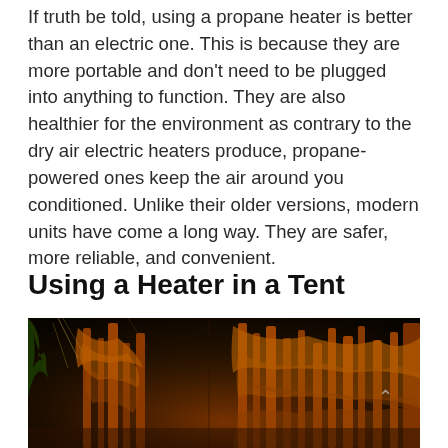If truth be told, using a propane heater is better than an electric one. This is because they are more portable and don't need to be plugged into anything to function. They are also healthier for the environment as contrary to the dry air electric heaters produce, propane-powered ones keep the air around you conditioned. Unlike their older versions, modern units have come a long way. They are safer, more reliable, and convenient.
Using a Heater in a Tent
[Figure (photo): Nighttime forest scene with trees illuminated in warm orange/amber light against a dark sky, viewed from below looking up.]